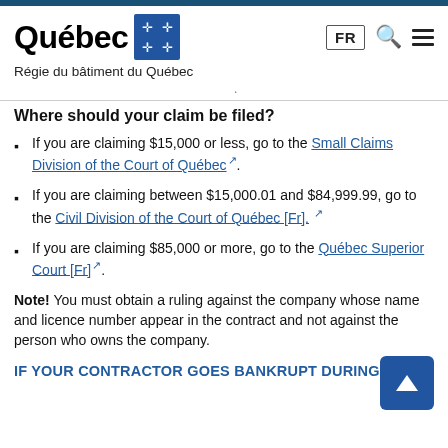[Figure (logo): Québec government logo with fleur-de-lis grid, FR button, search icon, and hamburger menu]
Régie du bâtiment du Québec
(partial decorative divider text)
Where should your claim be filed?
If you are claiming $15,000 or less, go to the Small Claims Division of the Court of Québec.
If you are claiming between $15,000.01 and $84,999.99, go to the Civil Division of the Court of Québec [Fr].
If you are claiming $85,000 or more, go to the Québec Superior Court [Fr].
Note! You must obtain a ruling against the company whose name and licence number appear in the contract and not against the person who owns the company.
IF YOUR CONTRACTOR GOES BANKRUPT DURING YOUR